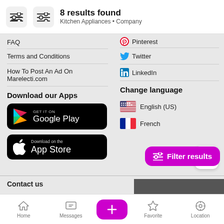8 results found — Kitchen Appliances • Company
FAQ
Terms and Conditions
How To Post An Ad On Marelecti.com
Download our Apps
[Figure (screenshot): Google Play store badge — black rounded rectangle with Google Play logo and text 'GET IT ON Google Play']
[Figure (screenshot): Apple App Store badge — black rounded rectangle with Apple logo and text 'Download on the App Store']
Pinterest (partially visible)
Twitter
LinkedIn
Change language
English (US)
French
Contact us
Home | Messages | + | Favorite | Location